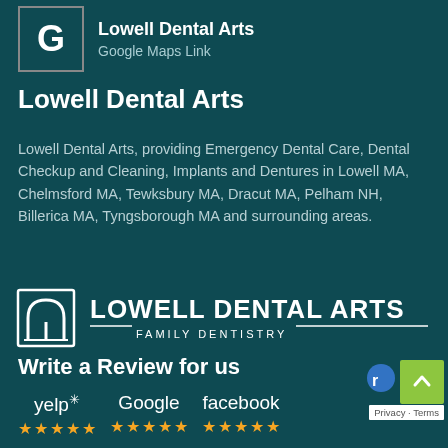[Figure (logo): Google 'G' logo in a bordered box with 'Lowell Dental Arts' title and 'Google Maps Link' subtitle]
Lowell Dental Arts
Lowell Dental Arts, providing Emergency Dental Care, Dental Checkup and Cleaning, Implants and Dentures in Lowell MA, Chelmsford MA, Tewksbury MA, Dracut MA, Pelham NH, Billerica MA, Tyngsborough MA and surrounding areas.
[Figure (logo): Lowell Dental Arts Family Dentistry logo — stylized tooth/arch icon on left, text 'LOWELL DENTAL ARTS' large, 'FAMILY DENTISTRY' smaller below with decorative lines]
Write a Review for us
[Figure (logo): Yelp, Google, and Facebook logos with 5-star ratings in orange stars beneath each]